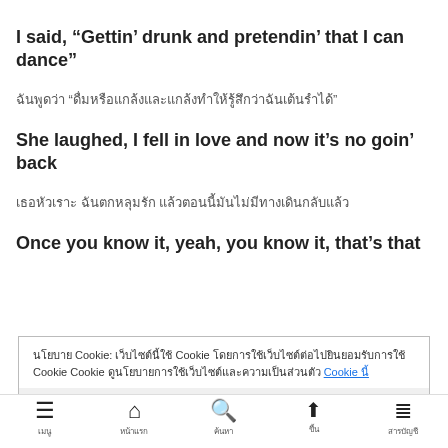I said, “Gettin’ drunk and pretendin’ that I can dance”
ฉันพูดว่า “ดื่มหรือแกล้งและแกล้งทำให้รู้สึกว่าฉันเต้นรำได้”
She laughed, I fell in love and now it’s no goin’ back
เธอหัวเราะ ฉันตกหลุมรัก แล้วตอนนี้มันไม่มีทางเดินกลับแล้ว
Once you know it, yeah, you know it, that’s that
นโยบาย Cookie: เว็บไซต์นี้ใช้ Cookie โดยการใช้เว็บไซต์ต่อไปยินยอมรับ Cookie ดูนโยบาย Cookie
เมนู | หน้าแรก | ค้นหา | ขึ้น | สารบัญชี